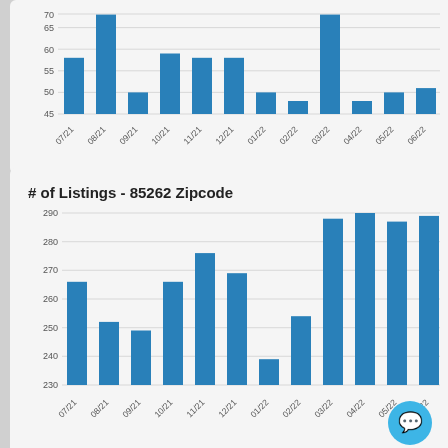[Figure (bar-chart): (partial chart, top cropped)]
[Figure (bar-chart): # of Listings - 85262 Zipcode]